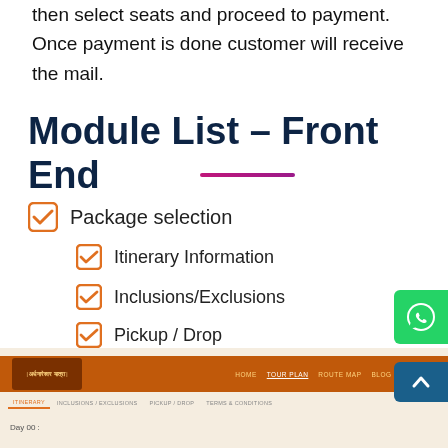then select seats and proceed to payment. Once payment is done customer will receive the mail.
Module List – Front End
Package selection
Itinerary Information
Inclusions/Exclusions
Pickup / Drop
Terms and Conditions
[Figure (screenshot): Screenshot of a travel website with orange navigation bar showing Home, Tour Plan, Route Map, Blog, Contact links, a logo, and tabs for Itinerary, Inclusions/Exclusions, Pickup/Drop, Terms & Conditions]